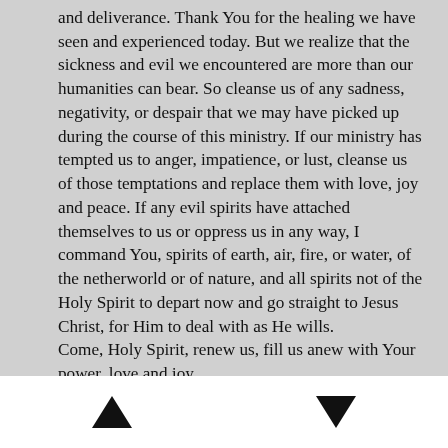and deliverance. Thank You for the healing we have seen and experienced today. But we realize that the sickness and evil we encountered are more than our humanities can bear. So cleanse us of any sadness, negativity, or despair that we may have picked up during the course of this ministry. If our ministry has tempted us to anger, impatience, or lust, cleanse us of those temptations and replace them with love, joy and peace. If any evil spirits have attached themselves to us or oppress us in any way, I command You, spirits of earth, air, fire, or water, of the netherworld or of nature, and all spirits not of the Holy Spirit to depart now and go straight to Jesus Christ, for Him to deal with as He wills. Come, Holy Spirit, renew us, fill us anew with Your power, love and joy.
[Figure (other): Navigation footer bar with up arrow and down arrow buttons on white background]